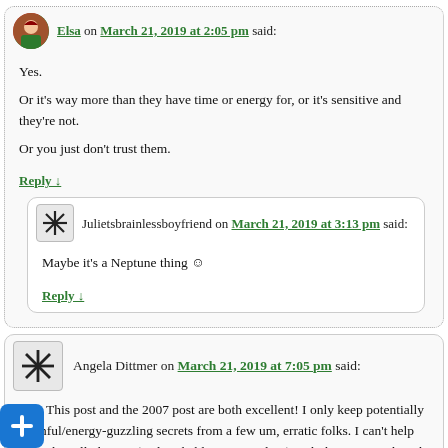Elsa on March 21, 2019 at 2:05 pm said:
Yes.

Or it's way more than they have time or energy for, or it's sensitive and they're not.

Or you just don't trust them.
Reply ↓
Julietsbrainlessboyfriend on March 21, 2019 at 3:13 pm said:
Maybe it's a Neptune thing ☺
Reply ↓
Angela Dittmer on March 21, 2019 at 7:05 pm said:
This post and the 2007 post are both excellent! I only keep potentially harmful/energy-guzzling secrets from a few um, erratic folks. I can't help being brutally honest (and probably too revealing) with those I trust though, or those who have never given me a reason to doubt them.